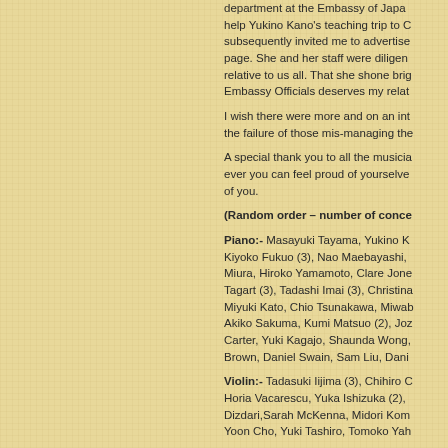department at the Embassy of Japan to help Yukino Kano's teaching trip to Canada, subsequently invited me to advertise page. She and her staff were diligent relative to us all. That she shone brig Embassy Officials deserves my relat
I wish there were more and on an int the failure of those mis-managing the
A special thank you to all the musicia ever you can feel proud of yourselve of you.
(Random order – number of conce
Piano:- Masayuki Tayama, Yukino K Kiyoko Fukuo (3), Nao Maebayashi, Miura, Hiroko Yamamoto, Clare Jone Tagart (3), Tadashi Imai (3), Christina Miyuki Kato, Chio Tsunakawa, Miwab Akiko Sakuma, Kumi Matsuo (2), Joz Carter, Yuki Kagajo, Shaunda Wong, Brown, Daniel Swain, Sam Liu, Dani
Violin:- Tadasuki Iijima (3), Chihiro C Horia Vacarescu, Yuka Ishizuka (2), Dizdari, Sarah McKenna, Midori Kom Yoon Cho, Yuki Tashiro, Tomoko Yah
Cello:- Vladamir Waltham, Daniel Da
Flute:- Simon Gillis (3), Helen Will